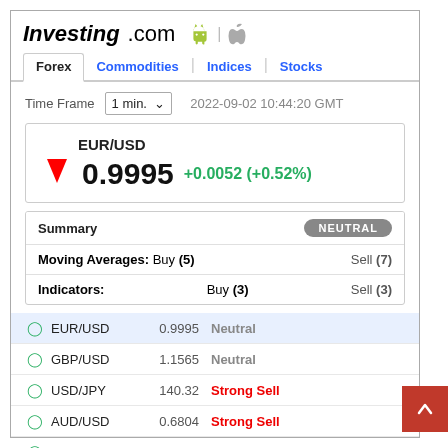Investing.com
Forex | Commodities | Indices | Stocks
Time Frame 1 min. 2022-09-02 10:44:20 GMT
EUR/USD 0.9995 +0.0052 (+0.52%)
| Summary | NEUTRAL |
| --- | --- |
| Moving Averages: Buy (5) | Sell (7) |
| Indicators: | Buy (3) | Sell (3) |
EUR/USD  0.9995  Neutral
GBP/USD  1.1565  Neutral
USD/JPY  140.32  Strong Sell
AUD/USD  0.6804  Strong Sell
USD/CAD  1.3145  Strong Sell
EUR/JPY  140.28  Strong Sell